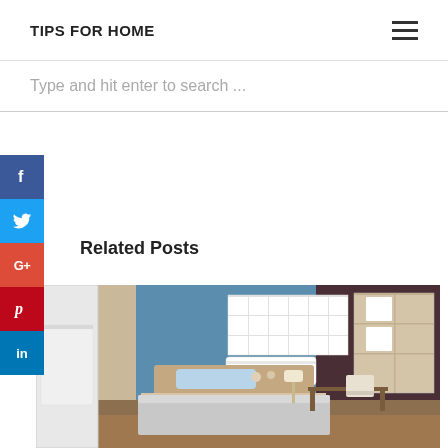TIPS FOR HOME
Type and hit enter to search ...
[Figure (other): Social media share buttons: Facebook (f), Twitter (bird icon), Google+ (G+), Pinterest (P), LinkedIn (in)]
Related Posts
[Figure (photo): Bedroom interior with blue accent wall, white bed with gray bedding, white wardrobe, wall-mounted shelves, desk with chair, lamp, and wooden floor.]